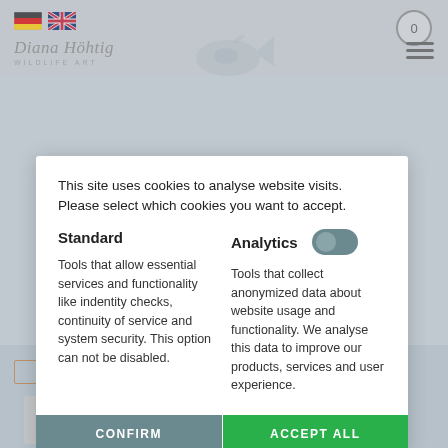[Figure (screenshot): Website background showing Diana Höhtig Wildlife Art website with language flag icons (German, British), cart icon, hamburger menu, logo, and a fish/whale silhouette illustration. Below is a light blue-gray navigation area with buttons and a thumbnail image placeholder.]
This site uses cookies to analyse website visits. Please select which cookies you want to accept.
Standard
Analytics
Tools that allow essential services and functionality like indentity checks, continuity of service and system security. This option can not be disabled.
Tools that collect anonymized data about website usage and functionality. We analyse this data to improve our products, services and user experience.
CONFIRM
ACCEPT ALL